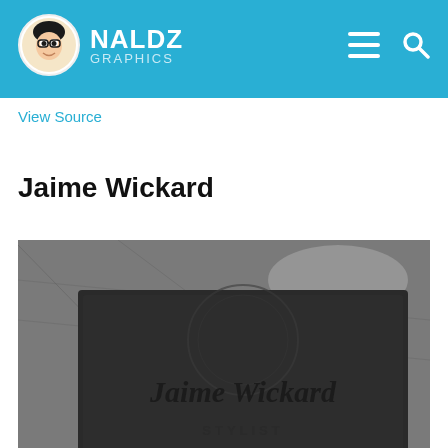NALDZ GRAPHICS
View Source
Jaime Wickard
[Figure (photo): A dark embossed business card on a grey textured surface. The card reads 'Jaime Wickard STYLIST' in an elegant script and serif typeface.]